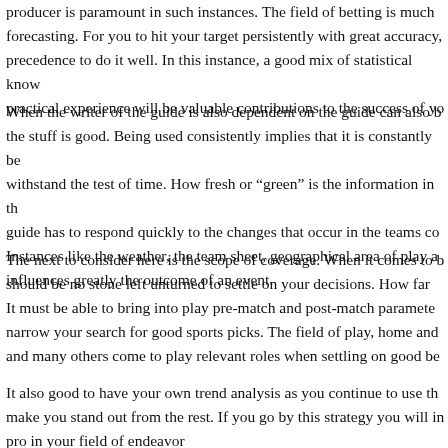producer is paramount in such instances. The field of betting is much forecasting. For you to hit your target persistently with great accuracy, precedence to do it well. In this instance, a good mix of statistical know practical experience will be valuable contributions to the success of yo
When the writer of the guide is also dependent on the guide can also the stuff is good. Being used consistently implies that it is constantly be withstand the test of time. How fresh or “green” is the information in t guide has to respond quickly to the changes that occur in the teams co Instances like the weather, the team sheet, geographical area of play a influences greatly the outcome of an event.
The next to consider here is the scope of coverage. When it comes to b should be no stone left unturned to settle on your decisions. How far It must be able to bring into play pre-match and post-match paramete narrow your search for good sports picks. The field of play, home and and many others come to play relevant roles when settling on good be
It also good to have your own trend analysis as you continue to use th make you stand out from the rest. If you go by this strategy you will in pro in your field of endeavor